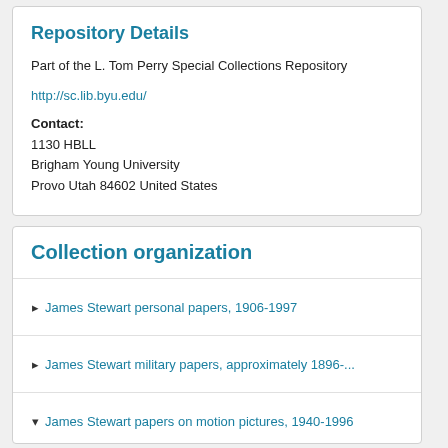Repository Details
Part of the L. Tom Perry Special Collections Repository
http://sc.lib.byu.edu/
Contact:
1130 HBLL
Brigham Young University
Provo Utah 84602 United States
Collection organization
James Stewart personal papers, 1906-1997
James Stewart military papers, approximately 1896-...
James Stewart papers on motion pictures, 1940-1996
James Stewart motion picture contracts, undated